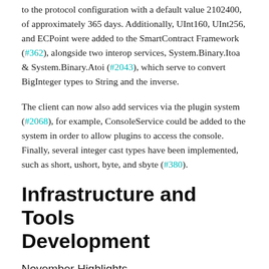to the protocol configuration with a default value 2102400, of approximately 365 days. Additionally, UInt160, UInt256, and ECPoint were added to the SmartContract Framework (#362), alongside two interop services, System.Binary.Itoa & System.Binary.Atoi (#2043), which serve to convert BigInteger types to String and the inverse.
The client can now also add services via the plugin system (#2068), for example, ConsoleService could be added to the system in order to allow plugins to access the console. Finally, several integer cast types have been implemented, such as short, ushort, byte, and sbyte (#380).
Infrastructure and Tools Development
November Highlights
Flamingo